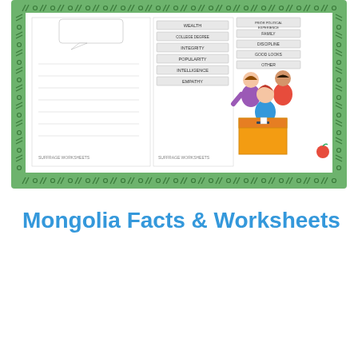[Figure (illustration): A decorative educational worksheet image with a green border featuring hash marks and circles. Inside shows two worksheet pages and cartoon children at a voting/ballot box with word cards showing terms like WEALTH, COLLEGE DEGREE, INTEGRITY, POPULARITY, INTELLIGENCE, EMPATHY, PRIOR POLITICAL EXPERIENCE, FAMILY, DISCIPLINE, GOOD LOOKS, OTHER on the right side.]
Mongolia Facts & Worksheets